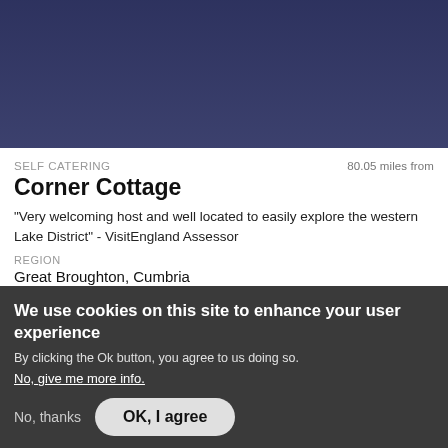[Figure (photo): Dark blue-purple photo strip at top of page, partially cropped property image]
SELF CATERING
80.05 miles from
Corner Cottage
"Very welcoming host and well located to easily explore the western Lake District" - VisitEngland Assessor
REGION
Great Broughton, Cumbria
OFFICIAL RATING
ASSESSED BY
[Figure (logo): VisitEngland logo with red target/bullseye icon]
We use cookies on this site to enhance your user experience
By clicking the Ok button, you agree to us doing so.
No, give me more info.
No, thanks
OK, I agree